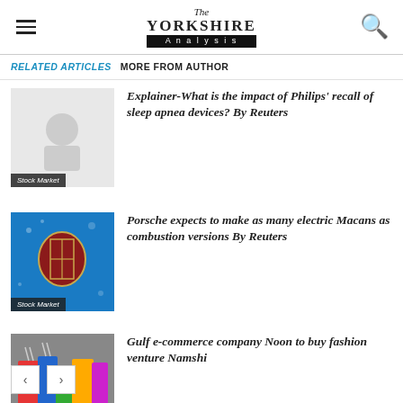The Yorkshire Analysis
RELATED ARTICLES   MORE FROM AUTHOR
[Figure (photo): Placeholder image with Stock Market label]
Explainer-What is the impact of Philips' recall of sleep apnea devices? By Reuters
[Figure (photo): Porsche logo on blue background with Stock Market label]
Porsche expects to make as many electric Macans as combustion versions By Reuters
[Figure (photo): Fashion runway with colorful bags, Stock Market label]
Gulf e-commerce company Noon to buy fashion venture Namshi